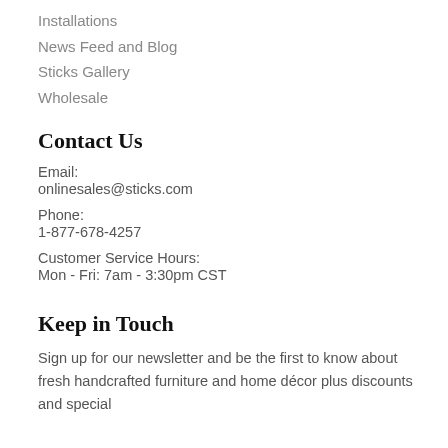Installations
News Feed and Blog
Sticks Gallery
Wholesale
Contact Us
Email:
onlinesales@sticks.com
Phone:
1-877-678-4257
Customer Service Hours:
Mon - Fri: 7am - 3:30pm CST
Keep in Touch
Sign up for our newsletter and be the first to know about fresh handcrafted furniture and home décor plus discounts and special promotions.